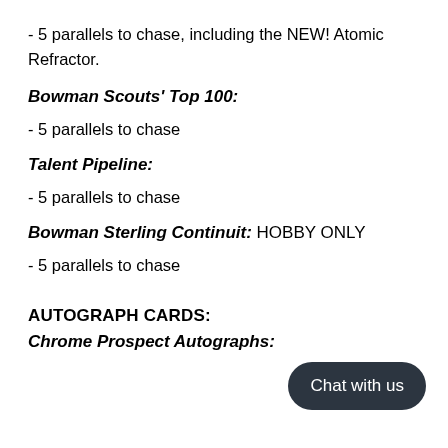- 5 parallels to chase, including the NEW! Atomic Refractor.
Bowman Scouts' Top 100:
- 5 parallels to chase
Talent Pipeline:
- 5 parallels to chase
Bowman Sterling Continuit: HOBBY ONLY
- 5 parallels to chase
AUTOGRAPH CARDS:
Chrome Prospect Autographs: